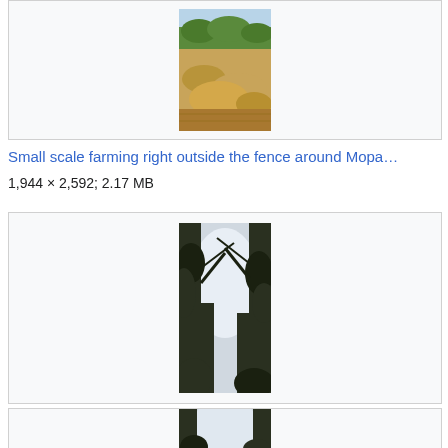[Figure (photo): Partial view of small scale farming photo showing mounds of hay/straw with green crops and trees in background]
Small scale farming right outside the fence around Mopa…
1,944 × 2,592; 2.17 MB
[Figure (photo): Photo looking upward through trees toward a bright sky, spider ambush 2]
Spider ambush 2.jpg
1,944 × 2,592; 1.9 MB
[Figure (photo): Partial photo at bottom of page showing trees and sky, similar to spider ambush series]